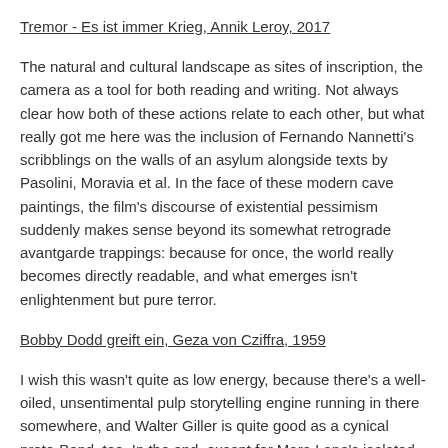Tremor - Es ist immer Krieg, Annik Leroy, 2017
The natural and cultural landscape as sites of inscription, the camera as a tool for both reading and writing. Not always clear how both of these actions relate to each other, but what really got me here was the inclusion of Fernando Nannetti's scribblings on the walls of an asylum alongside texts by Pasolini, Moravia et al. In the face of these modern cave paintings, the film's discourse of existential pessimism suddenly makes sense beyond its somewhat retrograde avantgarde trappings: because for once, the world really becomes directly readable, and what emerges isn't enlightenment but pure terror.
Bobby Dodd greift ein, Geza von Cziffra, 1959
I wish this wasn't quite as low energy, because there's a well-oiled, unsentimental pulp storytelling engine running in there somewhere, and Walter Giller is quite good as a cynical proto-Bond, too. In the end, except for Mara Lane's isolated, melancholic sexiness nothing really sticks, though